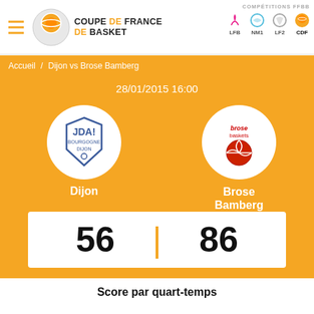Coupe de France de Basket
Accueil / Dijon vs Brose Bamberg
28/01/2015 16:00
[Figure (logo): JDA Bourgogne Dijon team logo in white circle]
Dijon
[Figure (logo): Brose Baskets team logo in white circle]
Brose Bamberg
56 | 86
Score par quart-temps